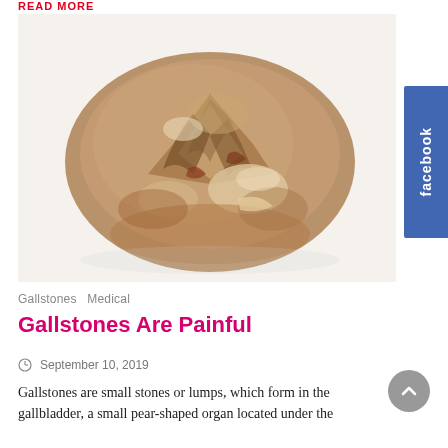READ MORE
[Figure (photo): Close-up photograph of a gallstone — a rough, brownish, irregularly shaped hard lump with crystalline texture, displayed on a white background.]
Gallstones  Medical
Gallstones Are Painful
September 10, 2019
Gallstones are small stones or lumps, which form in the gallbladder, a small pear-shaped organ located under the